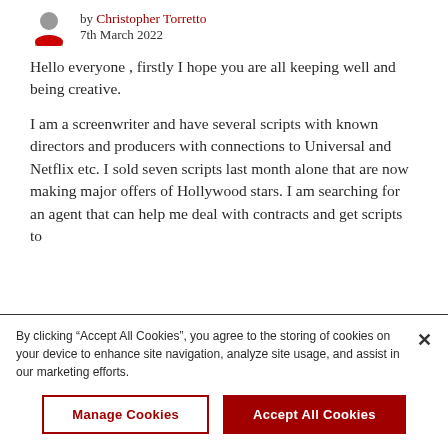by Christopher Torretto
7th March 2022
Hello everyone , firstly I hope you are all keeping well and being creative.
I am a screenwriter and have several scripts with known directors and producers with connections to Universal and Netflix etc. I sold seven scripts last month alone that are now making major offers of Hollywood stars. I am searching for an agent that can help me deal with contracts and get scripts to
By clicking “Accept All Cookies”, you agree to the storing of cookies on your device to enhance site navigation, analyze site usage, and assist in our marketing efforts.
Manage Cookies
Accept All Cookies